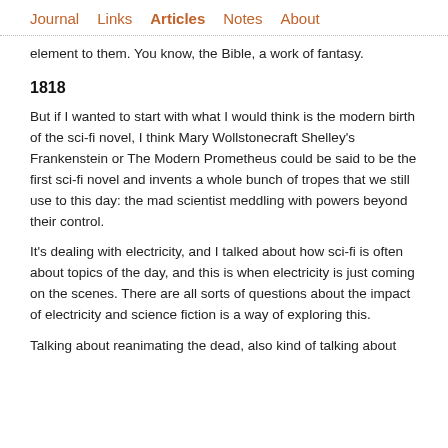Journal   Links   Articles   Notes   About
element to them. You know, the Bible, a work of fantasy.
1818
But if I wanted to start with what I would think is the modern birth of the sci-fi novel, I think Mary Wollstonecraft Shelley's Frankenstein or The Modern Prometheus could be said to be the first sci-fi novel and invents a whole bunch of tropes that we still use to this day: the mad scientist meddling with powers beyond their control.
It's dealing with electricity, and I talked about how sci-fi is often about topics of the day, and this is when electricity is just coming on the scenes. There are all sorts of questions about the impact of electricity and science fiction is a way of exploring this.
Talking about reanimating the dead, also kind of talking about